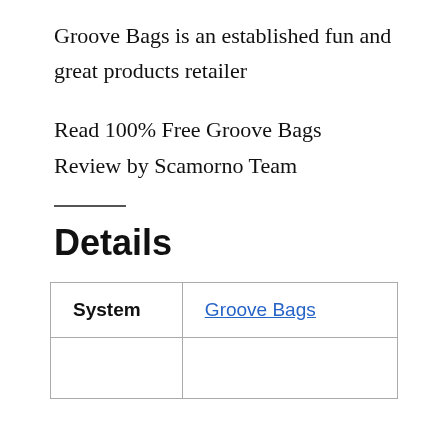Groove Bags is an established fun and great products retailer
Read 100% Free Groove Bags Review by Scamorno Team
Details
| System |  |
| --- | --- |
| System | Groove Bags |
|  |  |